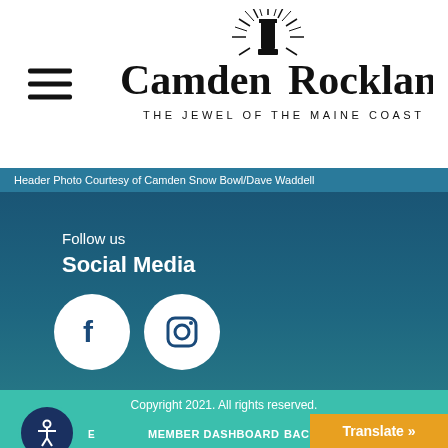Camden Rockland — The Jewel of the Maine Coast
Header Photo Courtesy of Camden Snow Bowl/Dave Waddell
Follow us
Social Media
[Figure (illustration): Facebook and Instagram social media icons as white circles with dark blue logos]
Copyright 2021. All rights reserved.
MEMBER DASHBOARD   BACK TO TOP
Translate »